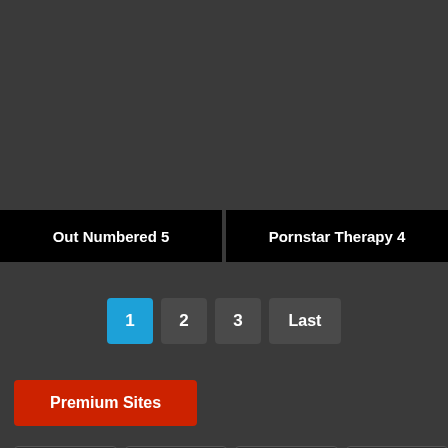Out Numbered 5
Pornstar Therapy 4
1 2 3 Last
Premium Sites
PornWish
PandaMovies
BananaMovies
XOpenload